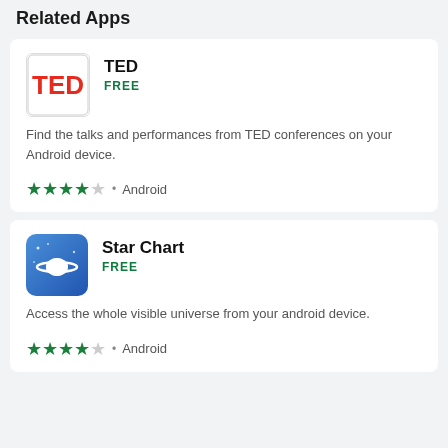Related Apps
[Figure (logo): TED app icon — white background with red bold TED text]
TED
FREE
Find the talks and performances from TED conferences on your Android device.
★★★★☆ • Android
[Figure (logo): Star Chart app icon — blue gradient background with white Saturn planet illustration]
Star Chart
FREE
Access the whole visible universe from your android device.
★★★★☆ • Android